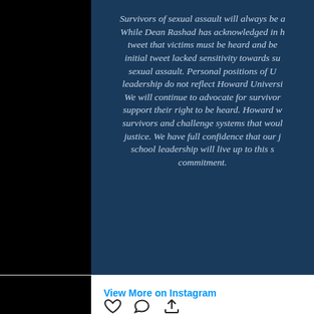Survivors of sexual assault will always be a priority. While Dean Rashad has acknowledged in his follow-up tweet that victims must be heard and believed, his initial tweet lacked sensitivity towards survivors of sexual assault. Personal positions of University leadership do not reflect Howard University's values. We will continue to advocate for survivors and support their right to be heard. Howard will stand by survivors and challenge systems that would deny them justice. We have full confidence that our law school leadership will live up to this commitment.
View More on Instagram